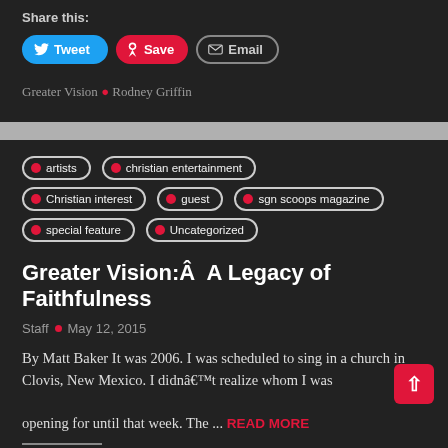Share this:
Tweet | Save | Email
Greater Vision • Rodney Griffin
artists
christian entertainment
Christian interest
guest
sgn scoops magazine
special feature
Uncategorized
Greater Vision:Â  A Legacy of Faithfulness
Staff • May 12, 2015
By Matt Baker It was 2006. I was scheduled to sing in a church in Clovis, New Mexico. I didnâ€™t realize whom I was opening for until that week. The ... READ MORE